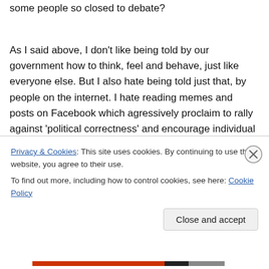some people so closed to debate?
As I said above, I don't like being told by our government how to think, feel and behave, just like everyone else. But I also hate being told just that, by people on the internet. I hate reading memes and posts on Facebook which agressively proclaim to rally against 'political correctness' and encourage individual opinion, yet include words along the lines of 'you must think if you know this country'
Privacy & Cookies: This site uses cookies. By continuing to use this website, you agree to their use.
To find out more, including how to control cookies, see here: Cookie Policy